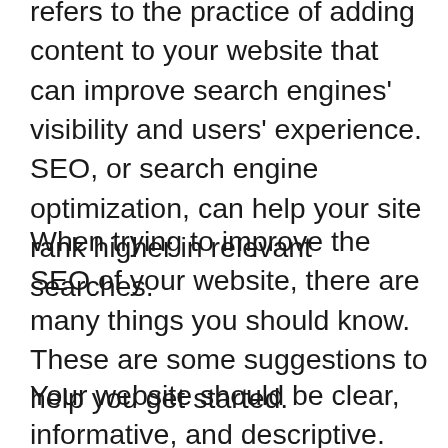refers to the practice of adding content to your website that can improve search engines' visibility and users' experience. SEO, or search engine optimization, can help your site rank higher in relevant searches.
When trying to improve the SEO of your website, there are many things you should know. These are some suggestions to help you get started.
Your website should be clear, informative, and descriptive.